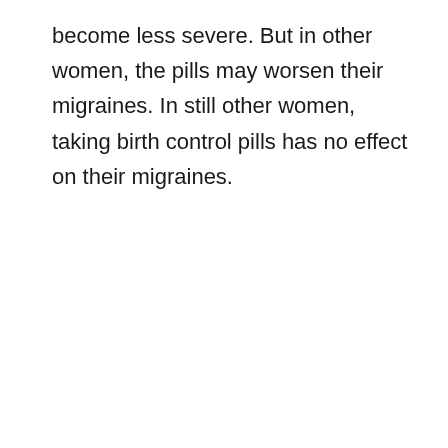become less severe. But in other women, the pills may worsen their migraines. In still other women, taking birth control pills has no effect on their migraines.